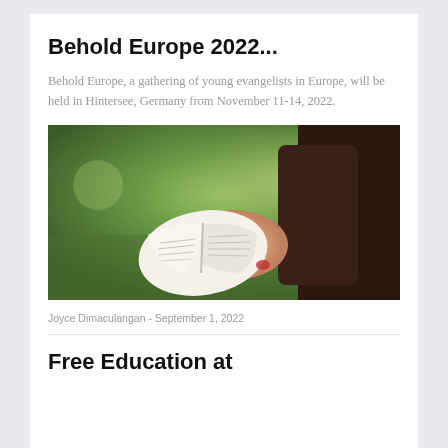Behold Europe 2022...
Behold Europe, a gathering of young evangelists in Europe, will be held in Hintersee, Germany from November 11-14, 2022.
[Figure (photo): Person holding an open book/Bible outdoors with green bokeh background]
Joyce Dimaculangan  -  September 1, 2022
Free Education at